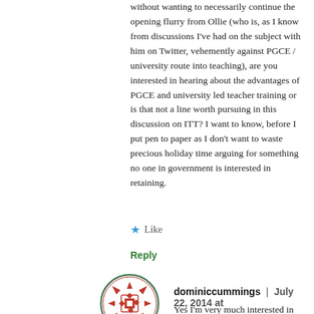without wanting to necessarily continue the opening flurry from Ollie (who is, as I know from discussions I've had on the subject with him on Twitter, vehemently against PGCE / university route into teaching), are you interested in hearing about the advantages of PGCE and university led teacher training or is that not a line worth pursuing in this discussion on ITT? I want to know, before I put pen to paper as I don't want to waste precious holiday time arguing for something no one in government is interested in retaining.
★ Like
Reply
[Figure (illustration): Circular avatar with red decorative geometric pattern on white background with green border circle]
22:04
dominiccummings | July 22, 2014 at
Yes I'm very much interested in the pros